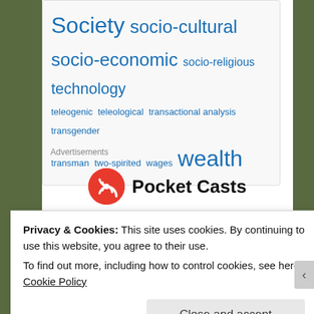Society socio-cultural socio-economic socio-religious technology teleogenic teleological transactional analysis transgender transman two-spirited wages wealth
Advertisements
[Figure (logo): Pocket Casts logo with red circular icon and bold text 'Pocket Casts']
The go-to app
Privacy & Cookies: This site uses cookies. By continuing to use this website, you agree to their use.
To find out more, including how to control cookies, see here: Cookie Policy
Close and accept